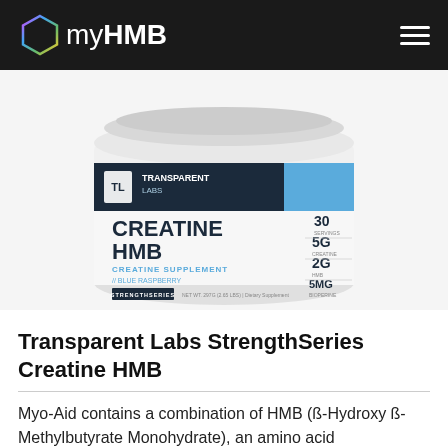myHMB
[Figure (photo): Transparent Labs StrengthSeries Creatine HMB supplement tub, white container with dark navy and blue label, Blue Raspberry flavor, showing 30 servings, 5g creatine, 2g HMB, 5mg BioPerine.]
Transparent Labs StrengthSeries Creatine HMB
Myo-Aid contains a combination of HMB (ß-Hydroxy ß-Methylbutyrate Monohydrate), an amino acid